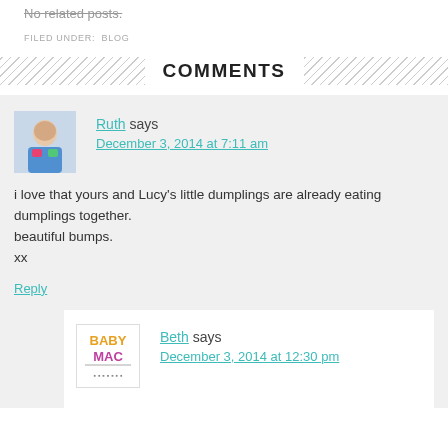No related posts.
FILED UNDER: BLOG
COMMENTS
Ruth says
December 3, 2014 at 7:11 am
i love that yours and Lucy's little dumplings are already eating dumplings together.
beautiful bumps.
xx
Reply
Beth says
December 3, 2014 at 12:30 pm